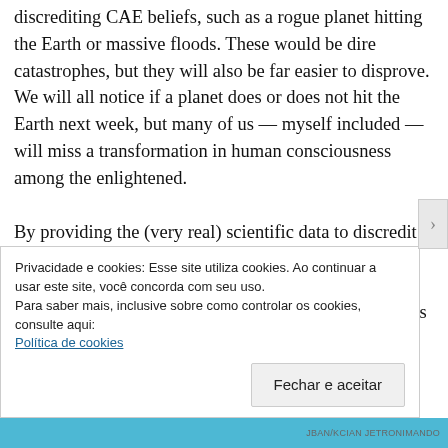discrediting CAE beliefs, such as a rogue planet hitting the Earth or massive floods. These would be dire catastrophes, but they will also be far easier to disprove. We will all notice if a planet does or does not hit the Earth next week, but many of us — myself included — will miss a transformation in human consciousness among the enlightened.

By providing the (very real) scientific data to discredit the apocalypse, scholars are incorporated into this project of modernity.  Much of the scholarly work on this phenomenon is fascinating and subtle, but the press picks up on two main themes.  One is scientific proof that the apocalypse will not happen, such as astronomical data that
Privacidade e cookies: Esse site utiliza cookies. Ao continuar a usar este site, você concorda com seu uso.
Para saber mais, inclusive sobre como controlar os cookies, consulte aqui:
Política de cookies
Fechar e aceitar